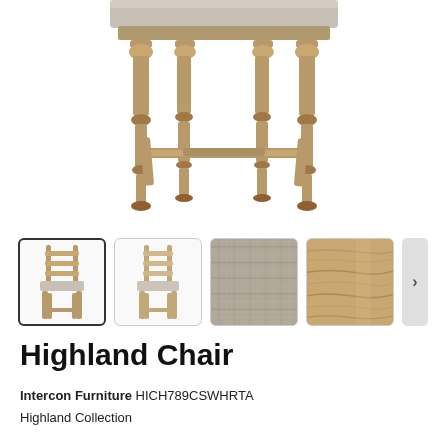[Figure (photo): Close-up photo of the bottom half of a Highland Chair showing turned wooden legs in a rustic brown/beige finish with a grey upholstered seat, horizontal stretchers connecting the legs]
[Figure (photo): Thumbnail 1 (selected): Full view of Highland Chair with ladder-back and upholstered seat, rustic wood finish]
[Figure (photo): Thumbnail 2: Side or angled view of Highland Chair]
[Figure (photo): Thumbnail 3: Grey fabric swatch close-up]
[Figure (photo): Thumbnail 4: Wood finish swatch in rustic brown]
Highland Chair
Intercon Furniture HICH789CSWHRTA
Highland Collection